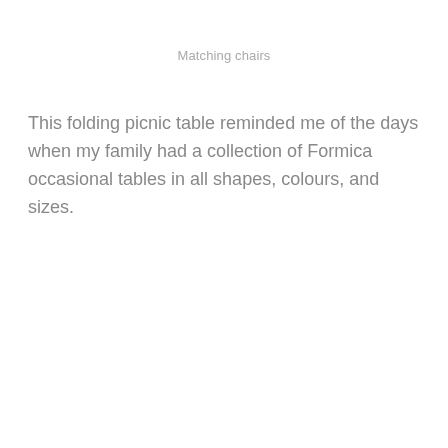Matching chairs
This folding picnic table reminded me of the days when my family had a collection of Formica occasional tables in all shapes, colours, and sizes.